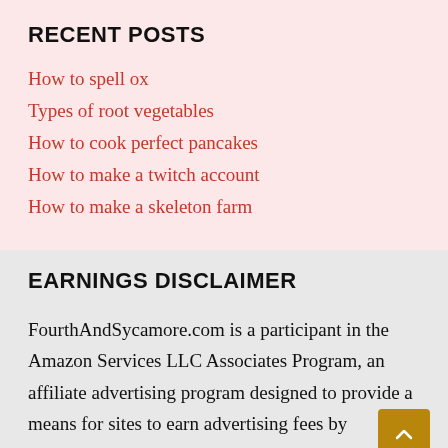RECENT POSTS
How to spell ox
Types of root vegetables
How to cook perfect pancakes
How to make a twitch account
How to make a skeleton farm
EARNINGS DISCLAIMER
FourthAndSycamore.com is a participant in the Amazon Services LLC Associates Program, an affiliate advertising program designed to provide a means for sites to earn advertising fees by advertising and linking to Amazon.com. Amazon